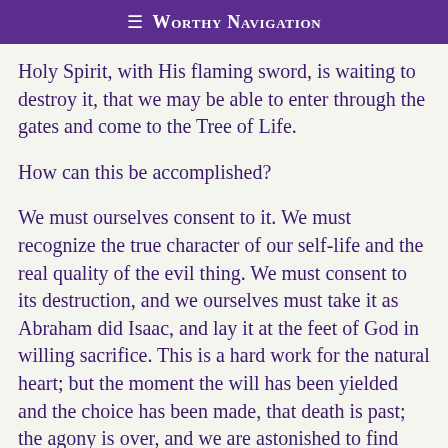≡ Worthy Navigation
Holy Spirit, with His flaming sword, is waiting to destroy it, that we may be able to enter through the gates and come to the Tree of Life.
How can this be accomplished?
We must ourselves consent to it. We must recognize the true character of our self-life and the real quality of the evil thing. We must consent to its destruction, and we ourselves must take it as Abraham did Isaac, and lay it at the feet of God in willing sacrifice. This is a hard work for the natural heart; but the moment the will has been yielded and the choice has been made, that death is past; the agony is over, and we are astonished to find that the death is accomplished.